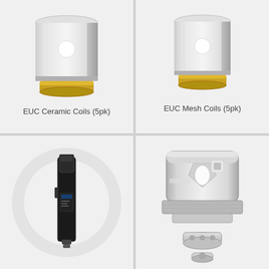[Figure (photo): EUC Ceramic Coil product photo - silver cylindrical vape coil with white circular dot on front and gold base connector]
EUC Ceramic Coils (5pk)
[Figure (photo): EUC Mesh Coil product photo - silver cylindrical vape coil with white circular dot on front and gold base connector, slightly smaller than ceramic version]
EUC Mesh Coils (5pk)
[Figure (photo): Vape pen/mod device photo - tall black box mod with tank, shown against a light grey circular watermark background]
[Figure (photo): Vape coil assembly product photo - silver wide-bore coil head with decorative cut-out design and small base piece below it]